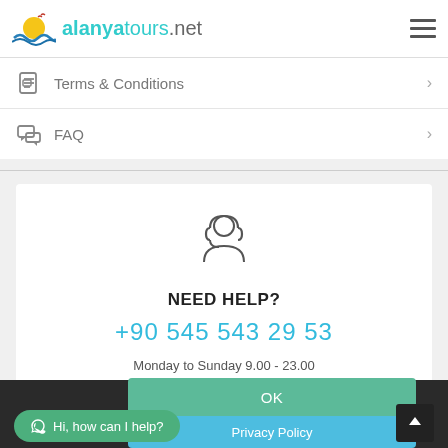alanyatours.net
Terms & Conditions
FAQ
NEED HELP?
+90 545 543 29 53
Monday to Sunday 9.00 - 23.00
OK
Privacy Policy
Hi, how can I help?